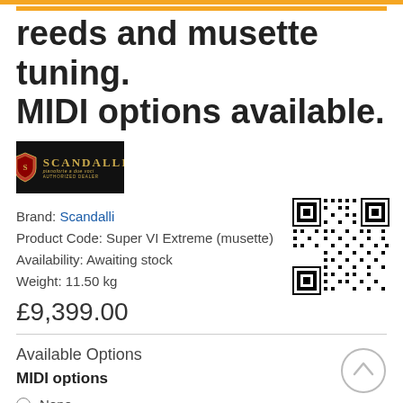reeds and musette tuning. MIDI options available.
[Figure (logo): Scandalli brand logo — dark background with gold shield emblem and gold text 'SCANDALLI' with italic subtitle]
Brand: Scandalli
Product Code: Super VI Extreme (musette)
Availability: Awaiting stock
Weight: 11.50 kg
£9,399.00
[Figure (other): QR code image]
Available Options
MIDI options
None
Bass MIDI (+£499.00)